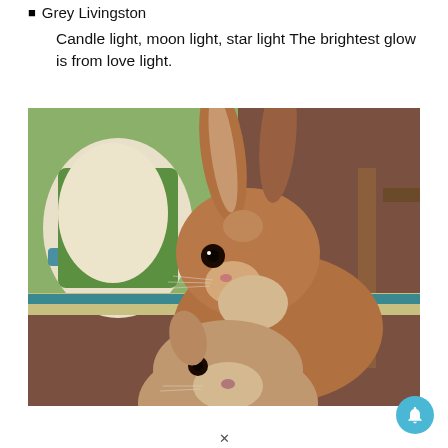Grey Livingston
Candle light, moon light, star light The brightest glow is from love light.
[Figure (photo): Two brown rabbits close together, one peering over a ledge at the other. Background shows green fabric and wooden cage elements.]
×